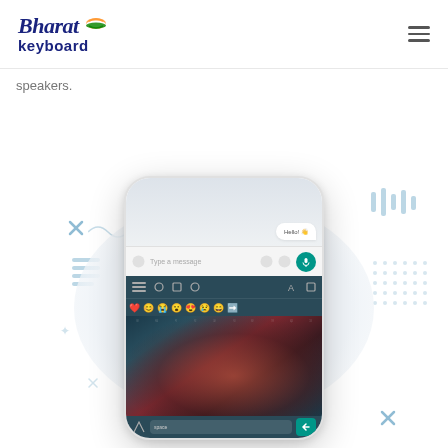Bharat keyboard
speakers.
[Figure (screenshot): Smartphone mockup showing a WhatsApp-like messaging interface with Bharat keyboard open, displaying emoji row and a decorative background. Decorative SVG elements (bars, X marks, wavy lines, dot grid) surround the phone mockup.]